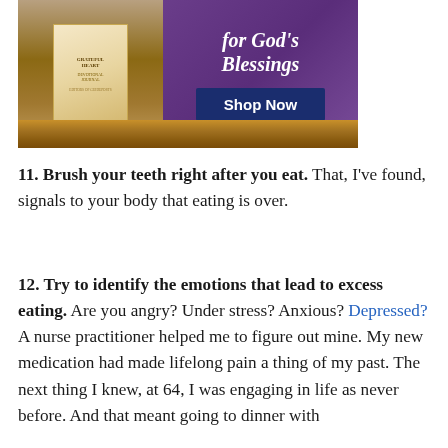[Figure (illustration): Advertisement image showing a devotional journal book cover on a wooden surface background, with purple background on the right side showing text 'for God's Blessings' and a dark blue 'Shop Now' button.]
11. Brush your teeth right after you eat. That, I've found, signals to your body that eating is over.
12. Try to identify the emotions that lead to excess eating. Are you angry? Under stress? Anxious? Depressed? A nurse practitioner helped me to figure out mine. My new medication had made lifelong pain a thing of my past. The next thing I knew, at 64, I was engaging in life as never before. And that meant going to dinner with